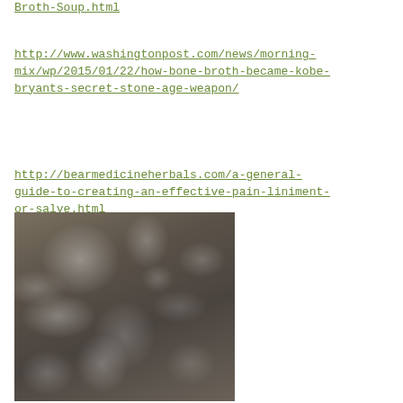Broth-Soup.html
http://www.washingtonpost.com/news/morning-mix/wp/2015/01/22/how-bone-broth-became-kobe-bryants-secret-stone-age-weapon/
http://bearmedicineherbals.com/a-general-guide-to-creating-an-effective-pain-liniment-or-salve.html
[Figure (photo): Close-up photograph of a granular or sandy dark surface with white spots and lighter-colored worm-like shapes scattered throughout.]